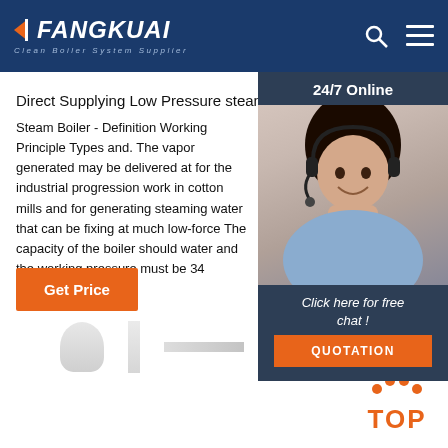FANGKUAI - Clean Boiler System Supplier
Direct Supplying Low Pressure steam Boiler
Steam Boiler - Definition Working Principle Types and. The vapor generated may be delivered at for the industrial progression work in cotton mills and for generating steaming water that can be fixing at much low-force The capacity of the boiler should water and the working pressure must be 34 Kgf/cm2 (kilo
Get Price
[Figure (photo): Customer service representative wearing headset, smiling. Overlay widget with '24/7 Online', 'Click here for free chat!', and 'QUOTATION' button.]
[Figure (photo): Partial product images of boiler equipment]
[Figure (other): TOP back-to-top button with orange dots and text]